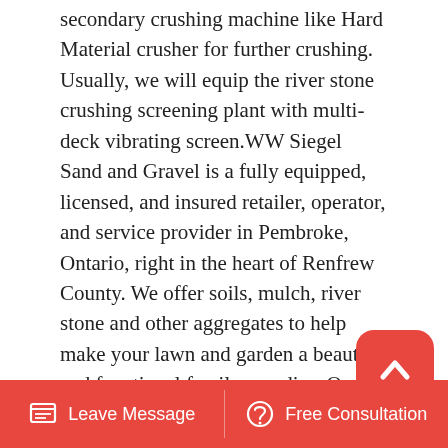secondary crushing machine like Hard Material crusher for further crushing. Usually, we will equip the river stone crushing screening plant with multi-deck vibrating screen.WW Siegel Sand and Gravel is a fully equipped, licensed, and insured retailer, operator, and service provider in Pembroke, Ontario, right in the heart of Renfrew County. We offer soils, mulch, river stone and other aggregates to help make your lawn and garden a beautiful and functional family paradise. Our quality aggregates can be delivered.Answer (1 of 9) The cone crusher is the most common crusher used in secondary-tertiary and quaternary stages of comminution in a crushing circuit. A secondary crushing stage usually uses a standard SD cone crusher and the following stages uses a Short Head SH type. For
[Figure (other): Red rounded square button with a white upward-pointing chevron/arrow icon, used as a scroll-to-top button]
Leave Message   Free Consultation